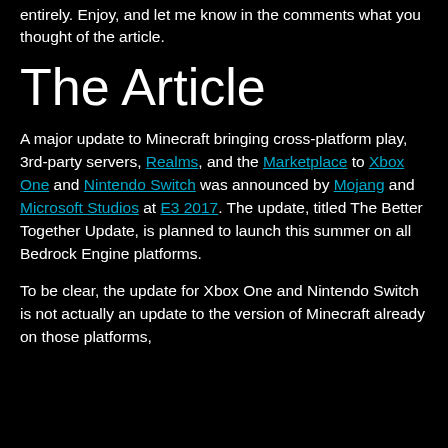entirely. Enjoy, and let me know in the comments what you thought of the article.
The Article
A major update to Minecraft bringing cross-platform play, 3rd-party servers, Realms, and the Marketplace to Xbox One and Nintendo Switch was announced by Mojang and Microsoft Studios at E3 2017. The update, titled The Better Together Update, is planned to launch this summer on all Bedrock Engine platforms.
To be clear, the update for Xbox One and Nintendo Switch is not actually an update to the version of Minecraft already on those platforms,